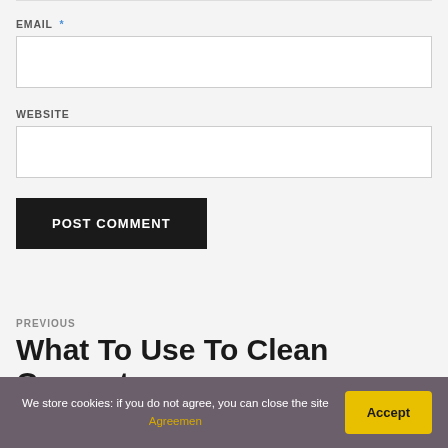EMAIL *
WEBSITE
POST COMMENT
PREVIOUS
What To Use To Clean Concrete
We store cookies: if you do not agree, you can close the site Agreemen
Accept